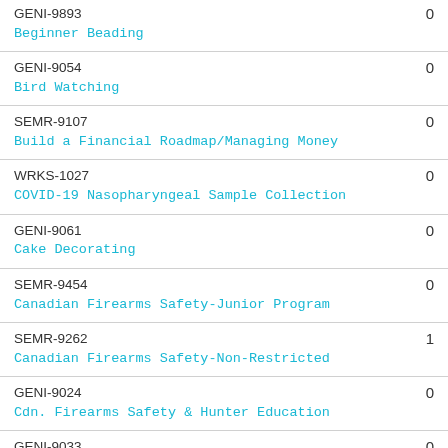| Course Code / Name | Count |
| --- | --- |
| GENI-9893
Beginner Beading | 0 |
| GENI-9054
Bird Watching | 0 |
| SEMR-9107
Build a Financial Roadmap/Managing Money | 0 |
| WRKS-1027
COVID-19 Nasopharyngeal Sample Collection | 0 |
| GENI-9061
Cake Decorating | 0 |
| SEMR-9454
Canadian Firearms Safety-Junior Program | 0 |
| SEMR-9262
Canadian Firearms Safety-Non-Restricted | 1 |
| GENI-9024
Cdn. Firearms Safety & Hunter Education | 0 |
| GENI-9033
Celtic Roots: Danny Boy and Beyond | 0 |
| GENI-1065 | 0 |